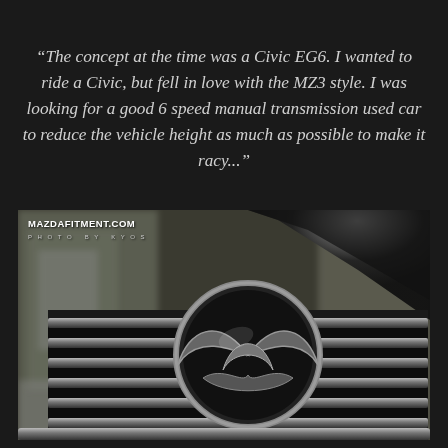“The concept at the time was a Civic EG6. I wanted to ride a Civic, but fell in love with the MZ3 style. I was looking for a good 6 speed manual transmission used car to reduce the vehicle height as much as possible to make it racy...”
[Figure (photo): Close-up photograph of a Mazda car front grille with the Mazda logo emblem in black chrome, with a blurred urban background. Watermark reads MAZDAFITMENT.COM with photo credit text below.]